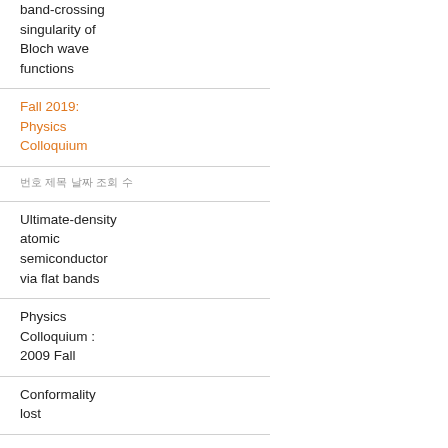band-crossing singularity of Bloch wave functions
Fall 2019: Physics Colloquium
번호 제목 날짜 조회 수
Ultimate-density atomic semiconductor via flat bands
Physics Colloquium : 2009 Fall
Conformality lost
Spring 2017: Physics Colloquium